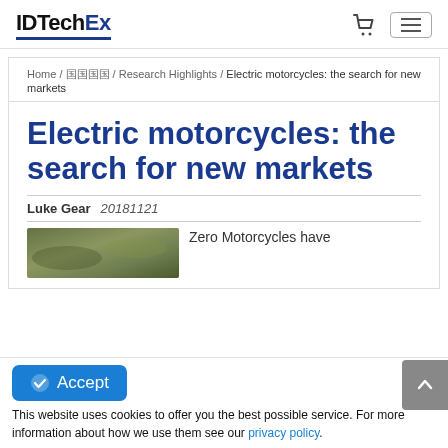IDTechEx
Home / 国国国国 / Research Highlights / Electric motorcycles: the search for new markets
Electric motorcycles: the search for new markets
Luke Gear   20181121
[Figure (photo): Outdoor photo, likely of an electric motorcycle in a natural setting]
Zero Motorcycles have
Accept
This website uses cookies to offer you the best possible service. For more information about how we use them see our privacy policy.